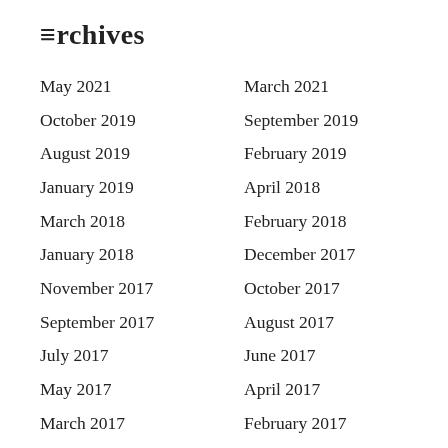Archives
May 2021
March 2021
October 2019
September 2019
August 2019
February 2019
January 2019
April 2018
March 2018
February 2018
January 2018
December 2017
November 2017
October 2017
September 2017
August 2017
July 2017
June 2017
May 2017
April 2017
March 2017
February 2017